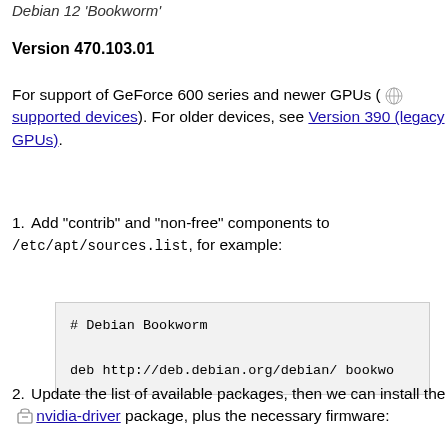Debian 12 'Bookworm'
Version 470.103.01
For support of GeForce 600 series and newer GPUs ( [globe] supported devices). For older devices, see Version 390 (legacy GPUs).
1. Add "contrib" and "non-free" components to /etc/apt/sources.list, for example:
# Debian Bookworm
deb http://deb.debian.org/debian/ bookwo
2. Update the list of available packages, then we can install the [package] nvidia-driver package, plus the necessary firmware: